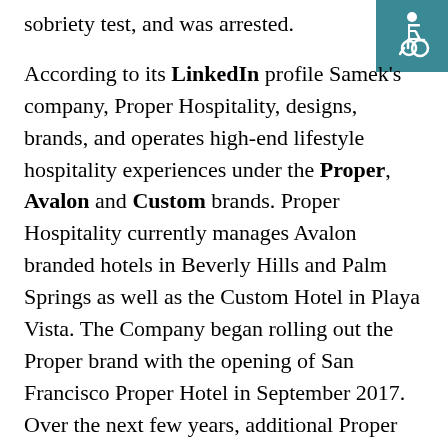sobriety test, and was arrested.
[Figure (illustration): Accessibility wheelchair icon, white symbol on teal/dark cyan background, top-right corner]
According to its LinkedIn profile Samek's company, Proper Hospitality, designs, brands, and operates high-end lifestyle hospitality experiences under the Proper, Avalon and Custom brands. Proper Hospitality currently manages Avalon branded hotels in Beverly Hills and Palm Springs as well as the Custom Hotel in Playa Vista. The Company began rolling out the Proper brand with the opening of San Francisco Proper Hotel in September 2017. Over the next few years, additional Proper Hotels and Residences are slated to open in other U.S. cities, including Downtown Los Angeles Proper (Early 2019), Austin Proper